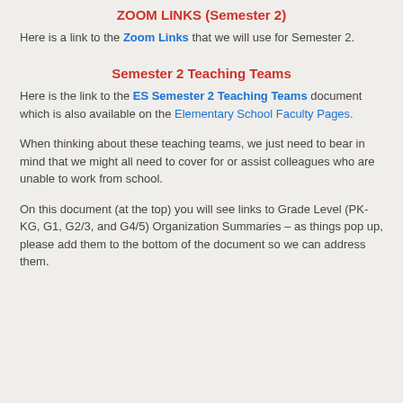ZOOM LINKS (Semester 2)
Here is a link to the Zoom Links that we will use for Semester 2.
Semester 2 Teaching Teams
Here is the link to the ES Semester 2 Teaching Teams document which is also available on the Elementary School Faculty Pages.
When thinking about these teaching teams, we just need to bear in mind that we might all need to cover for or assist colleagues who are unable to work from school.
On this document (at the top) you will see links to Grade Level (PK-KG, G1, G2/3, and G4/5) Organization Summaries – as things pop up, please add them to the bottom of the document so we can address them.